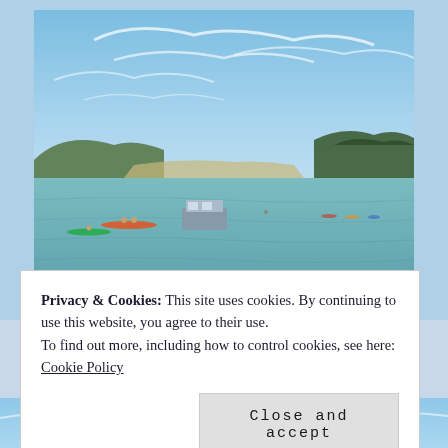[Figure (photo): Outdoor scenic photo of a calm bay or lagoon with turquoise-blue water. Hills and trees visible in the background under a bright blue sky with wispy white clouds. Small boats and kayakers visible on the water in the foreground.]
Privacy & Cookies: This site uses cookies. By continuing to use this website, you agree to their use.
To find out more, including how to control cookies, see here:
Cookie Policy
Close and accept
[Figure (photo): Partial view of another outdoor photo at the bottom, showing blue sky and possibly clouds.]